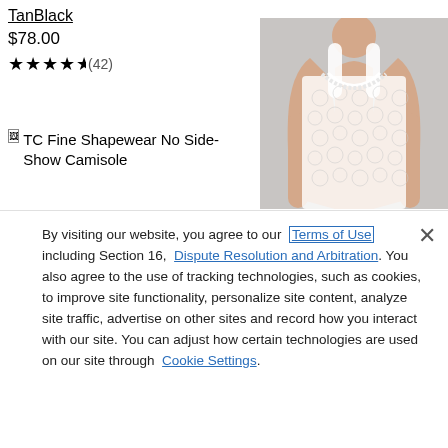TanBlack
$78.00
★★★★½ (42)
$58.00
★★★★★ (1)
TC Fine Shapewear No Side-Show Camisole
[Figure (photo): Woman wearing a white lace camisole shapewear top, cropped view showing torso from neck to waist]
By visiting our website, you agree to our Terms of Use including Section 16, Dispute Resolution and Arbitration. You also agree to the use of tracking technologies, such as cookies, to improve site functionality, personalize site content, analyze site traffic, advertise on other sites and record how you interact with our site. You can adjust how certain technologies are used on our site through Cookie Settings.